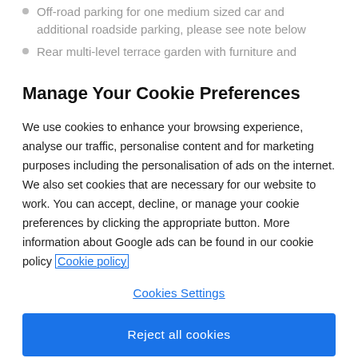Off-road parking for one medium sized car and additional roadside parking, please see note below
Rear multi-level terrace garden with furniture and
Manage Your Cookie Preferences
We use cookies to enhance your browsing experience, analyse our traffic, personalise content and for marketing purposes including the personalisation of ads on the internet. We also set cookies that are necessary for our website to work. You can accept, decline, or manage your cookie preferences by clicking the appropriate button. More information about Google ads can be found in our cookie policy Cookie policy
Cookies Settings
Reject all cookies
Accept all cookies